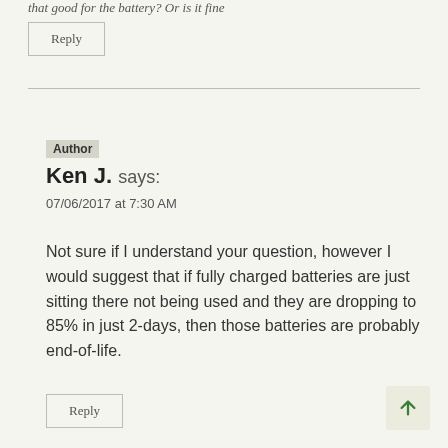that good for the battery? Or is it fine
Reply
Author
Ken J. says:
07/06/2017 at 7:30 AM
Not sure if I understand your question, however I would suggest that if fully charged batteries are just sitting there not being used and they are dropping to 85% in just 2-days, then those batteries are probably end-of-life.
Reply